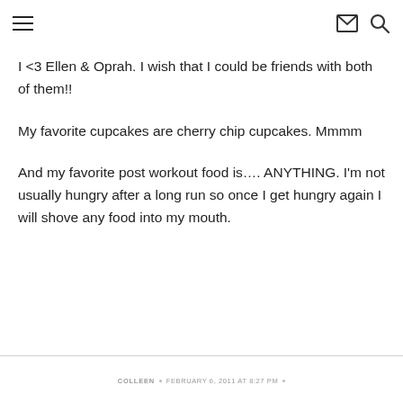hamburger menu | mail icon | search icon
I <3 Ellen & Oprah. I wish that I could be friends with both of them!!
My favorite cupcakes are cherry chip cupcakes. Mmmm
And my favorite post workout food is…. ANYTHING. I'm not usually hungry after a long run so once I get hungry again I will shove any food into my mouth.
COLLEEN · FEBRUARY 6, 2011 AT 8:27 PM ·